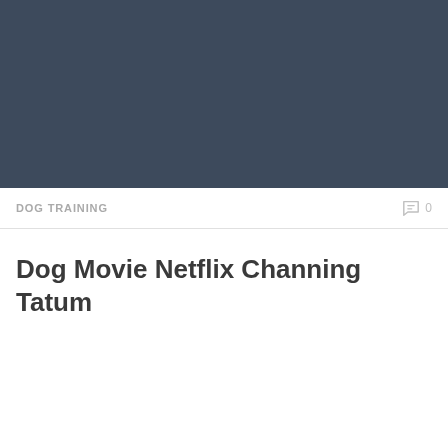[Figure (photo): Dark blue-grey solid color hero image block at top of page]
DOG TRAINING   0
Dog Movie Netflix Channing Tatum